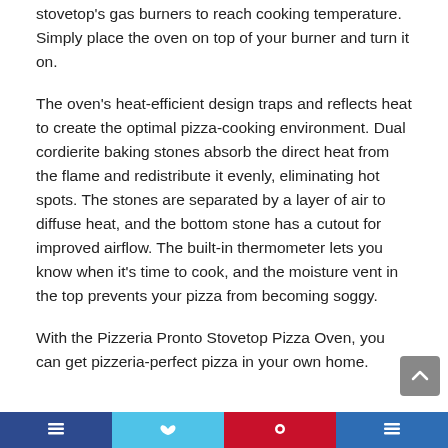stovetop's gas burners to reach cooking temperature. Simply place the oven on top of your burner and turn it on.
The oven's heat-efficient design traps and reflects heat to create the optimal pizza-cooking environment. Dual cordierite baking stones absorb the direct heat from the flame and redistribute it evenly, eliminating hot spots. The stones are separated by a layer of air to diffuse heat, and the bottom stone has a cutout for improved airflow. The built-in thermometer lets you know when it's time to cook, and the moisture vent in the top prevents your pizza from becoming soggy.
With the Pizzeria Pronto Stovetop Pizza Oven, you can get pizzeria-perfect pizza in your own home.
[Figure (other): Bottom navigation/share bar with four colored segments: dark blue, light blue, red, and medium blue, each containing a white icon.]